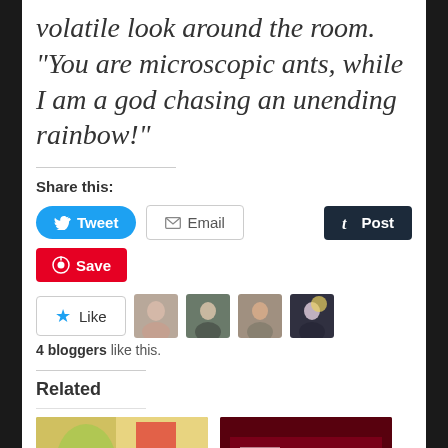volatile look around the room. “You are microscopic ants, while I am a god chasing an unending rainbow!”
Share this:
[Figure (infographic): Social share buttons: Tweet (blue), Email (outlined), Post (dark navy), Save (red with Pinterest icon)]
[Figure (infographic): Like button with star icon and 4 blogger avatar thumbnails]
4 bloggers like this.
Related
[Figure (photo): Two related article thumbnail images side by side at bottom of page]